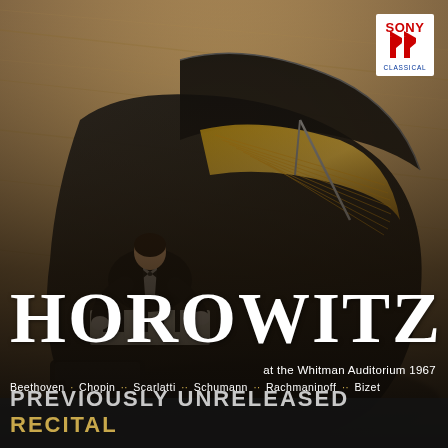[Figure (photo): Album cover photo: aerial/overhead view of pianist Vladimir Horowitz seated at a black grand piano on a wooden floor, wearing a black tuxedo, viewed from above and slightly to the right. The piano's golden interior strings and frame are visible with the lid open.]
[Figure (logo): Sony Classical logo in top right corner: red Sony wordmark above red double-flag 'ff' symbol, with 'CLASSICAL' text below in blue/navy.]
HOROWITZ
at the Whitman Auditorium 1967
Beethoven · Chopin ·· Scarlatti ·· Schumann ·· Rachmaninoff ·· Bizet
PREVIOUSLY UNRELEASED RECITAL